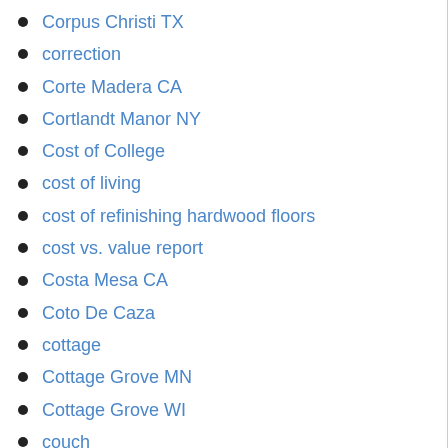Corpus Christi TX
correction
Corte Madera CA
Cortlandt Manor NY
Cost of College
cost of living
cost of refinishing hardwood floors
cost vs. value report
Costa Mesa CA
Coto De Caza
cottage
Cottage Grove MN
Cottage Grove WI
couch
counteroffer
counters
countertops
country
Country club living